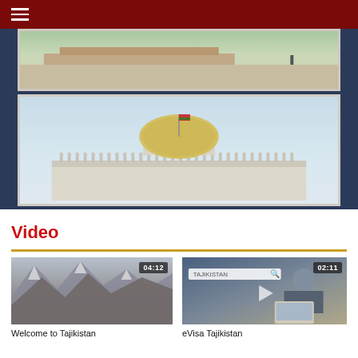[Figure (photo): Top portion of a government website with dark red header bar and hamburger menu icon, showing a slideshow area with dark navy blue background containing two photo slides: one showing a government plaza/square with a lone figure visible, and another showing a domed government building (Presidential Palace) against a blue sky with a flag on top]
Video
[Figure (photo): Video thumbnail showing mountain landscape (Tajikistan mountains) with duration badge 04:12]
Welcome to Tajikistan
[Figure (photo): Video thumbnail showing eVisa Tajikistan promotional video with a person on laptop and search bar overlay, duration badge 02:11]
eVisa Tajikistan